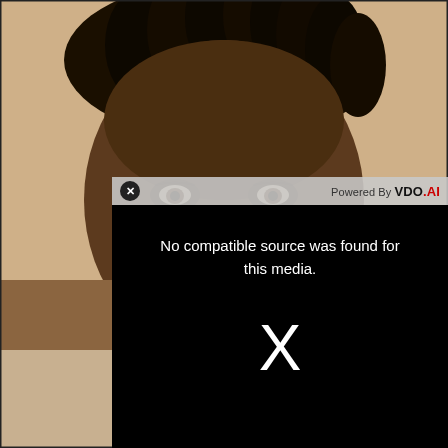[Figure (photo): Close-up photo of a man with dreadlocks, warm beige background, partially visible in lower left]
[Figure (screenshot): Video player overlay with toolbar showing X close button and 'Powered By VDO.AI' branding, black video body with error message 'No compatible source was found for this media.' and a large X symbol]